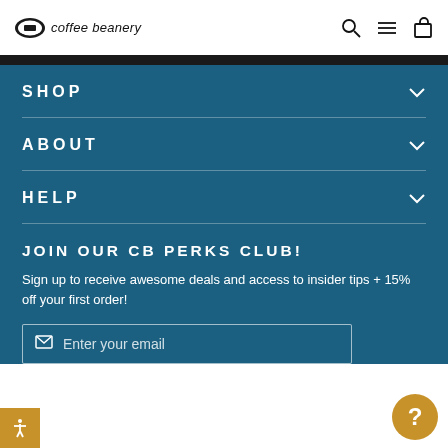coffee beanery
SHOP
ABOUT
HELP
JOIN OUR CB PERKS CLUB!
Sign up to receive awesome deals and access to insider tips + 15% off your first order!
Enter your email